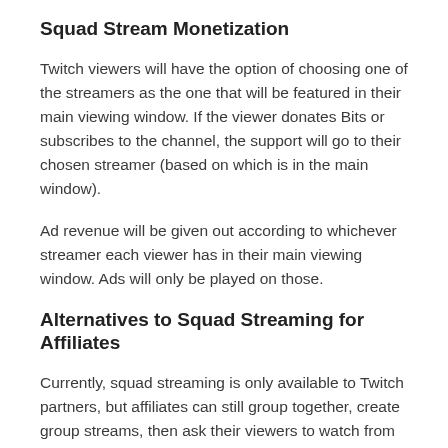Squad Stream Monetization
Twitch viewers will have the option of choosing one of the streamers as the one that will be featured in their main viewing window. If the viewer donates Bits or subscribes to the channel, the support will go to their chosen streamer (based on which is in the main window).
Ad revenue will be given out according to whichever streamer each viewer has in their main viewing window. Ads will only be played on those.
Alternatives to Squad Streaming for Affiliates
Currently, squad streaming is only available to Twitch partners, but affiliates can still group together, create group streams, then ask their viewers to watch from third-party software that will let them watch all the streamers at the same time. There are several platforms that will allow